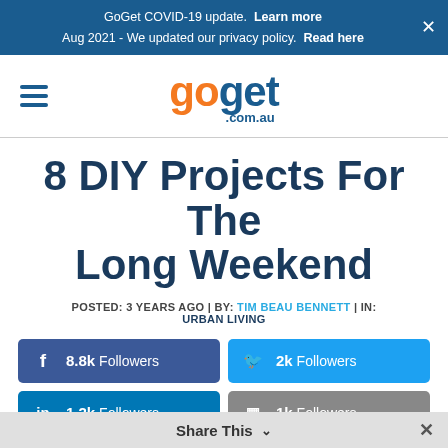GoGet COVID-19 update. Learn more
Aug 2021 - We updated our privacy policy. Read here
[Figure (logo): GoGet.com.au logo with hamburger menu icon]
8 DIY Projects For The Long Weekend
POSTED: 3 YEARS AGO | BY: TIM BEAU BENNETT | IN: URBAN LIVING
f 8.8k Followers | Twitter 2k Followers | in 1.2k Followers | Instagram 1k Followers
Share This